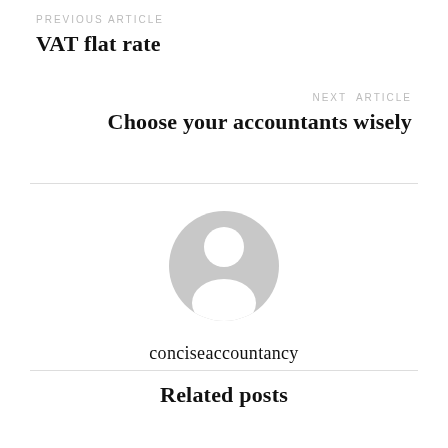PREVIOUS ARTICLE
VAT flat rate
NEXT ARTICLE
Choose your accountants wisely
[Figure (illustration): Grey placeholder avatar icon showing a generic person silhouette — circular head and rounded shoulders in light grey]
conciseaccountancy
Related posts